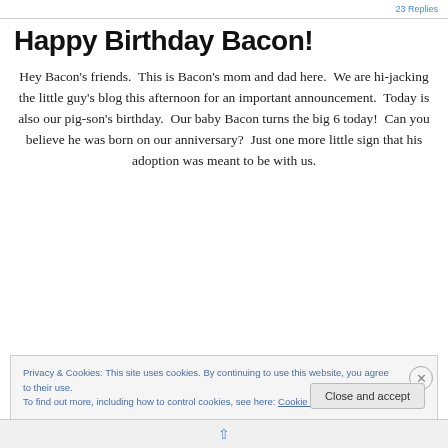23 Replies
Happy Birthday Bacon!
Hey Bacon's friends.  This is Bacon's mom and dad here.  We are hi-jacking the little guy's blog this afternoon for an important announcement.  Today is also our pig-son's birthday.  Our baby Bacon turns the big 6 today!  Can you believe he was born on our anniversary?  Just one more little sign that his adoption was meant to be with us.
Privacy & Cookies: This site uses cookies. By continuing to use this website, you agree to their use.
To find out more, including how to control cookies, see here: Cookie Policy